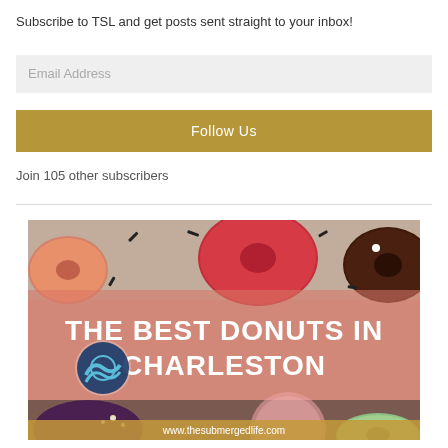Subscribe to TSL and get posts sent straight to your inbox!
Email Address
Follow Us
Join 105 other subscribers
[Figure (photo): Photo of colorful donuts from above with text overlay reading 'THE BEST DONUTS IN CHARLESTON' and URL www.thesubmergedlife.com at the bottom, along with a circular logo of The Submerged Life.]